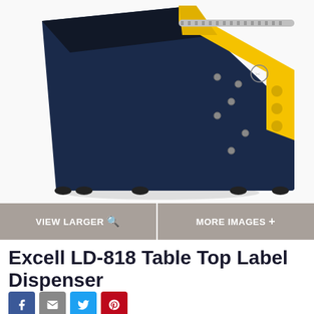[Figure (photo): Excell LD-818 Table Top Label Dispenser product photo showing a navy blue and yellow label dispenser machine on a white background]
VIEW LARGER 🔍
MORE IMAGES +
Excell LD-818 Table Top Label Dispenser
[Figure (other): Social share icons: Facebook, Email, Twitter, Pinterest]